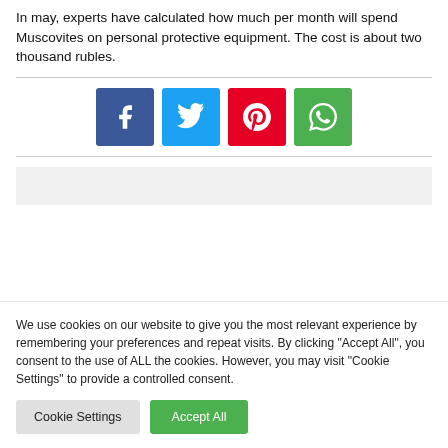In may, experts have calculated how much per month will spend Muscovites on personal protective equipment. The cost is about two thousand rubles.
[Figure (infographic): Four social media share buttons: Facebook (blue), Twitter (light blue), Pinterest (red), WhatsApp (green)]
We use cookies on our website to give you the most relevant experience by remembering your preferences and repeat visits. By clicking "Accept All", you consent to the use of ALL the cookies. However, you may visit "Cookie Settings" to provide a controlled consent.